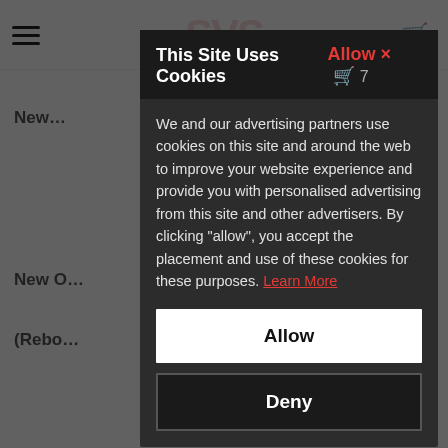This Site Uses Cookies  Allow ×
We and our advertising partners use cookies on this site and around the web to improve your website experience and provide you with personalised advertising from this site and other advertisers. By clicking "allow", you accept the placement and use of these cookies for these purposes. Learn More
Allow
Deny